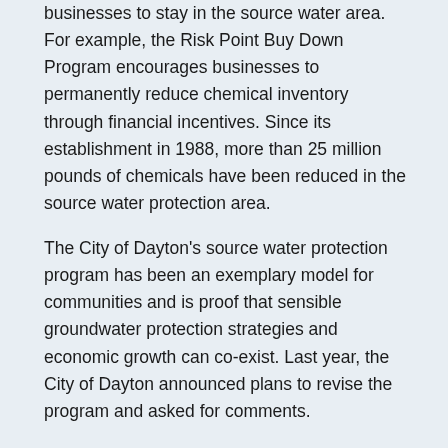businesses to stay in the source water area. For example, the Risk Point Buy Down Program encourages businesses to permanently reduce chemical inventory through financial incentives. Since its establishment in 1988, more than 25 million pounds of chemicals have been reduced in the source water protection area.
The City of Dayton’s source water protection program has been an exemplary model for communities and is proof that sensible groundwater protection strategies and economic growth can co-exist. Last year, the City of Dayton announced plans to revise the program and asked for comments.
The current proposal:
Increases incentive funds for businesses to eliminate hazardous materials.
Adds more monitoring wells.
Reduces the one-year source water protection area